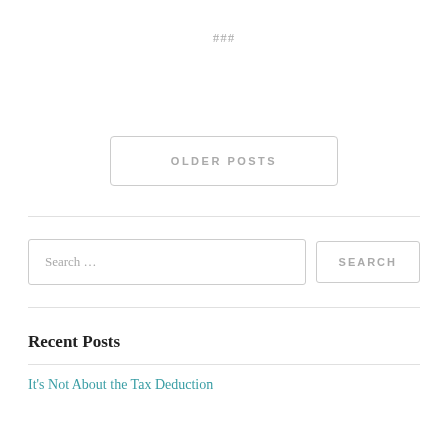###
OLDER POSTS
Search …
SEARCH
Recent Posts
It's Not About the Tax Deduction